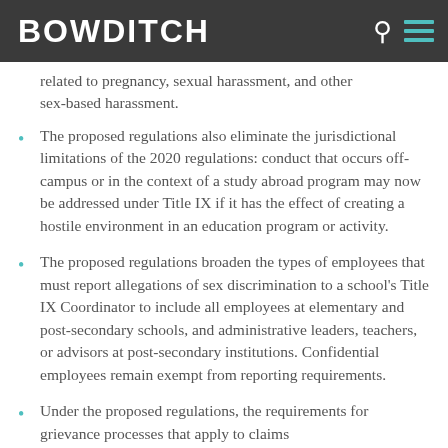BOWDITCH
related to pregnancy, sexual harassment, and other sex-based harassment.
The proposed regulations also eliminate the jurisdictional limitations of the 2020 regulations: conduct that occurs off-campus or in the context of a study abroad program may now be addressed under Title IX if it has the effect of creating a hostile environment in an education program or activity.
The proposed regulations broaden the types of employees that must report allegations of sex discrimination to a school's Title IX Coordinator to include all employees at elementary and post-secondary schools, and administrative leaders, teachers, or advisors at post-secondary institutions. Confidential employees remain exempt from reporting requirements.
Under the proposed regulations, the requirements for grievance processes that apply to claims